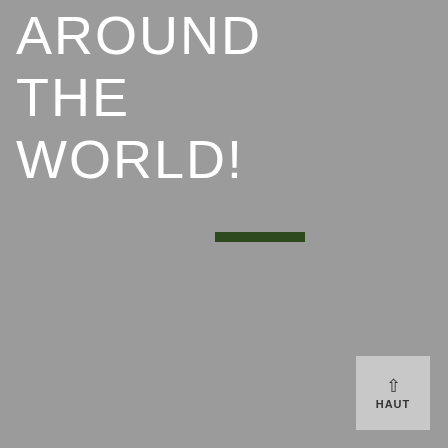AROUND THE WORLD!
[Figure (other): A small dark green horizontal rectangular bar centered slightly left of center on the page]
[Figure (other): A light gray square button in the bottom-right corner with an upward arrow and the text HAUT]